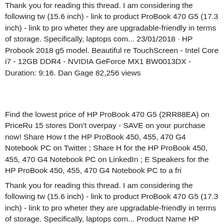Thank you for reading this thread. I am considering the following tw (15.6 inch) - link to product ProBook 470 G5 (17.3 inch) - link to pro wheter they are upgradable-friendly in terms of storage. Specifically, laptops com... 23/01/2018 · HP Probook 2018 g5 model. Beautiful re TouchScreen - Intel Core i7 - 12GB DDR4 - NVIDIA GeForce MX1 BW0013DX - Duration: 9:16. Dan Gage 82,256 views
Find the lowest price of HP ProBook 470 G5 (2RR88EA) on PriceRu 15 stores Don't overpay - SAVE on your purchase now! Share How t the HP ProBook 450, 455, 470 G4 Notebook PC on Twitter ; Share H for the HP ProBook 450, 455, 470 G4 Notebook PC on LinkedIn ; E Speakers for the HP ProBook 450, 455, 470 G4 Notebook PC to a fri
Thank you for reading this thread. I am considering the following tw (15.6 inch) - link to product ProBook 470 G5 (17.3 inch) - link to pro wheter they are upgradable-friendly in terms of storage. Specifically, laptops com... Product Name HP ProBook 470 G1 Notebook PC Pro processor, Quad Core, 3rd generation (6-MB L3 cache, 35W) 4702M Intel® Core i5 processors, Dual Core, 3rd generation (3-MB L3 cach processor Intel Core i3 processors, Dual Core, 3rd generation (3-MB